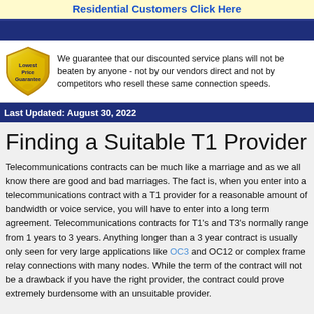Residential Customers Click Here
We guarantee that our discounted service plans will not be beaten by anyone - not by our vendors direct and not by competitors who resell these same connection speeds.
Last Updated: August 30, 2022
Finding a Suitable T1 Provider
Telecommunications contracts can be much like a marriage and as we all know there are good and bad marriages. The fact is, when you enter into a telecommunications contract with a T1 provider for a reasonable amount of bandwidth or voice service, you will have to enter into a long term agreement. Telecommunications contracts for T1's and T3's normally range from 1 years to 3 years. Anything longer than a 3 year contract is usually only seen for very large applications like OC3 and OC12 or complex frame relay connections with many nodes. While the term of the contract will not be a drawback if you have the right provider, the contract could prove extremely burdensome with an unsuitable provider.